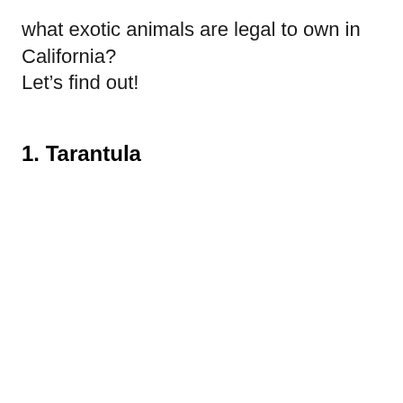what exotic animals are legal to own in California? Let's find out!
1. Tarantula